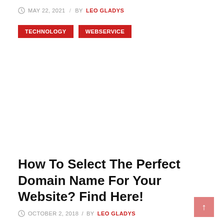MAY 22, 2021 / BY LEO GLADYS
TECHNOLOGY   WEBSERVICE
How To Select The Perfect Domain Name For Your Website? Find Here!
OCTOBER 2, 2018 / BY LEO GLADYS
TECHNOLOGY